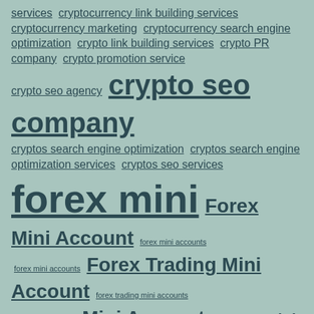services cryptocurrency link building services cryptocurrency marketing cryptocurrency search engine optimization crypto link building services crypto PR company crypto promotion service crypto seo agency crypto seo company cryptos search engine optimization cryptos search engine optimization services cryptos seo services forex mini Forex Mini Account forex mini accounts forex mini accounts Forex Trading Mini Account forex trading mini accounts guest posting rules Mini Account mini accounts mini brokers Mini Forex Mini forex account mini forex accounts mini forex broker mini forex